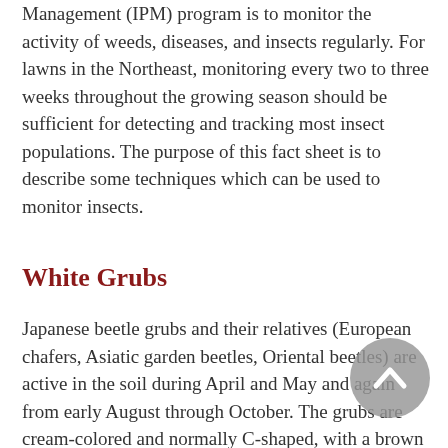Management (IPM) program is to monitor the activity of weeds, diseases, and insects regularly. For lawns in the Northeast, monitoring every two to three weeks throughout the growing season should be sufficient for detecting and tracking most insect populations. The purpose of this fact sheet is to describe some techniques which can be used to monitor insects.
White Grubs
Japanese beetle grubs and their relatives (European chafers, Asiatic garden beetles, Oriental beetles) are active in the soil during April and May and again from early August through October. The grubs are cream-colored and normally C-shaped, with a brown head and three pairs of legs. The easiest way to sample for grubs is to dig a square about 6 inches on a side and about 4 to 6 inches deep. Flip the sod upside down onto a flat surface (a plywood sheet or a piece of cardboard does nicely). Use a hand trowel to break up clumps of soil in